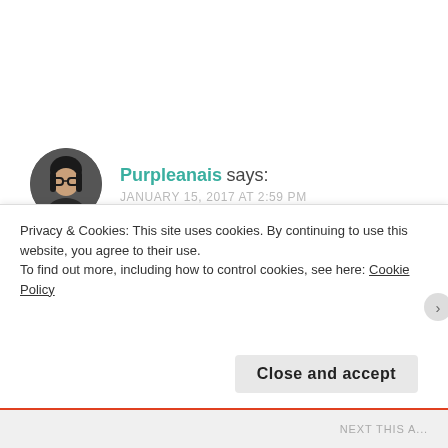Purpleanais says: JANUARY 15, 2017 AT 2:59 PM
Reblogged this on arwenaragornstar and commented:
Adam: great writer. I always look forward to his short stories. In fact, when I get a text asking if I
Privacy & Cookies: This site uses cookies. By continuing to use this website, you agree to their use.
To find out more, including how to control cookies, see here: Cookie Policy
Close and accept